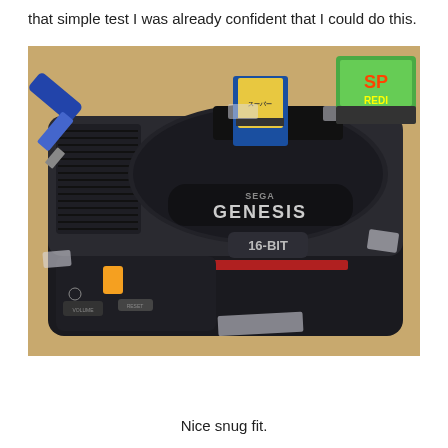that simple test I was already confident that I could do this.
[Figure (photo): A Sega Genesis 16-BIT console placed on a wooden table with pieces of tape holding it. A game cartridge is inserted in the top slot. A screwdriver is visible to the left, and a game cartridge box is visible to the upper right.]
Nice snug fit.